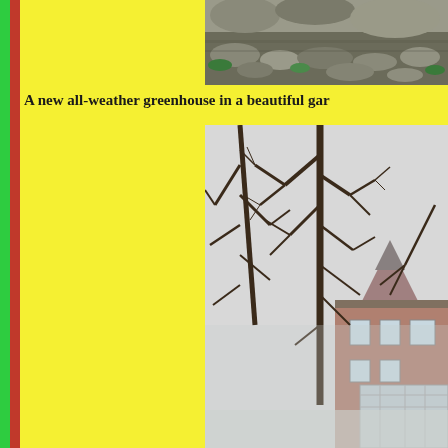[Figure (photo): Top photo showing a garden landscape with rocks, dried leaves, and some green ground cover]
A new all-weather greenhouse in a beautiful gar...
[Figure (photo): Winter scene with bare deciduous trees in the foreground and a large Victorian-style brick building with a greenhouse/conservatory wing visible in the background through fog or snow]